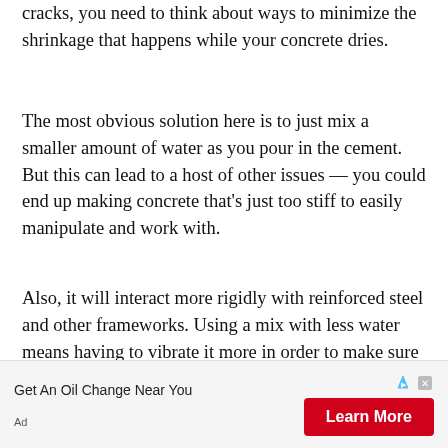cracks, you need to think about ways to minimize the shrinkage that happens while your concrete dries.
The most obvious solution here is to just mix a smaller amount of water as you pour in the cement. But this can lead to a host of other issues — you could end up making concrete that's just too stiff to easily manipulate and work with.
Also, it will interact more rigidly with reinforced steel and other frameworks. Using a mix with less water means having to vibrate it more in order to make sure it's still usable afterward.
[Figure (other): Advertisement banner: 'Get An Oil Change Near You' with a red 'Learn More' button and Ad label]